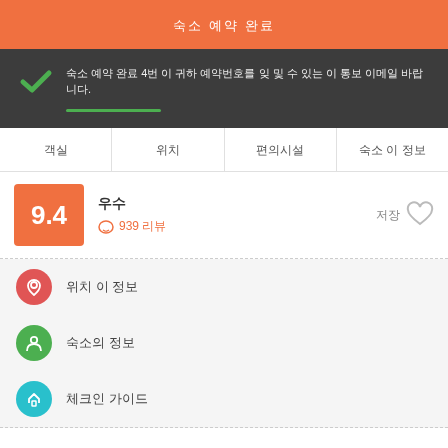숙소 예약 완료
숙소 예약 완료 4번 이 귀하 예약번호를 잊 및 수 있는 이 통보 이메일 바랍니다.
객실  위치  편의시설  숙소 이 정보
9.4 우수
○ 939 리뷰
저장
위치 이 정보
숙소의 정보
체크인 가이드
Hello, hello dear world traveler! Welcome to CENTRUM! Welcome to your Kotor home where you will meet new friends, experience Kotor at its finest, feel the spirit of the past centuries in our house which was built in 919!!! Yes, it was built in 10th century and it is 11 centuries